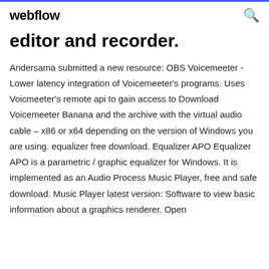webflow
editor and recorder.
Andersama submitted a new resource: OBS Voicemeeter - Lower latency integration of Voicemeeter's programs. Uses Voicmeeter's remote api to gain access to Download Voicemeeter Banana and the archive with the virtual audio cable – x86 or x64 depending on the version of Windows you are using. equalizer free download. Equalizer APO Equalizer APO is a parametric / graphic equalizer for Windows. It is implemented as an Audio Process Music Player, free and safe download. Music Player latest version: Software to view basic information about a graphics renderer. Open